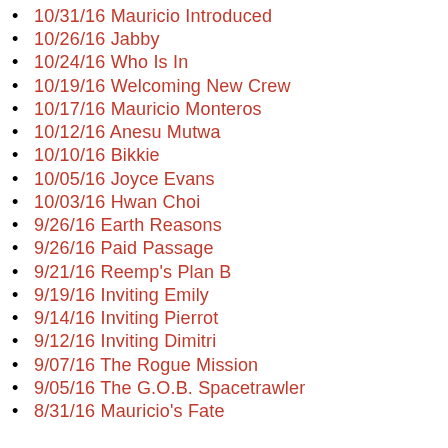10/31/16 Mauricio Introduced
10/26/16 Jabby
10/24/16 Who Is In
10/19/16 Welcoming New Crew
10/17/16 Mauricio Monteros
10/12/16 Anesu Mutwa
10/10/16 Bikkie
10/05/16 Joyce Evans
10/03/16 Hwan Choi
9/26/16 Earth Reasons
9/26/16 Paid Passage
9/21/16 Reemp's Plan B
9/19/16 Inviting Emily
9/14/16 Inviting Pierrot
9/12/16 Inviting Dimitri
9/07/16 The Rogue Mission
9/05/16 The G.O.B. Spacetrawler
8/31/16 Mauricio's Fate